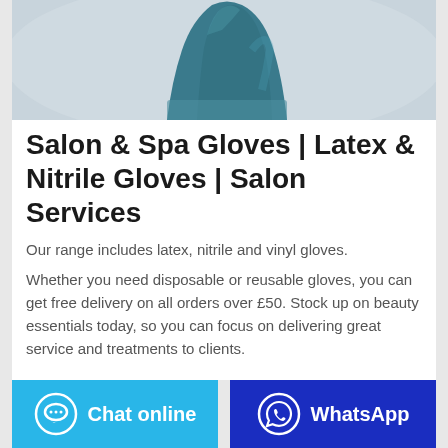[Figure (photo): Blue/teal nitrile gloved hand photographed against a light grey background, showing the hand from wrist upward with fingers visible at top.]
Salon & Spa Gloves | Latex & Nitrile Gloves | Salon Services
Our range includes latex, nitrile and vinyl gloves. Whether you need disposable or reusable gloves, you can get free delivery on all orders over £50. Stock up on beauty essentials today, so you can focus on delivering great service and treatments to clients.
Chat online | WhatsApp